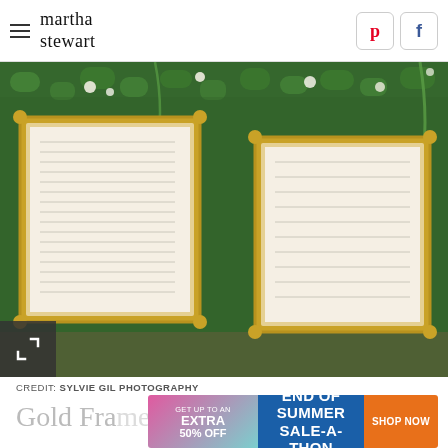martha stewart
[Figure (photo): Green hedge wall with ornate gold-framed seating charts or signage, decorated with white flowers and trailing greenery, photographed indoors.]
CREDIT: SYLVIE GIL PHOTOGRAPHY
Gold Framed Seating Chart
[Figure (infographic): Advertisement banner: GET UP TO AN EXTRA 50% OFF | END OF SUMMER SALE-A-THON | SHOP NOW]